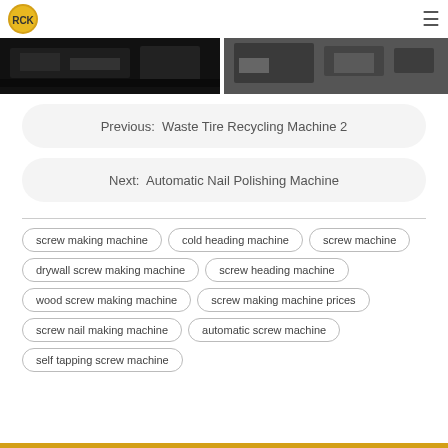Logo and navigation menu
[Figure (photo): Two side-by-side photos showing industrial machinery scenes, dark/dim lighting]
Previous:  Waste Tire Recycling Machine 2
Next:  Automatic Nail Polishing Machine
screw making machine
cold heading machine
screw machine
drywall screw making machine
screw heading machine
wood screw making machine
screw making machine prices
screw nail making machine
automatic screw machine
self tapping screw machine